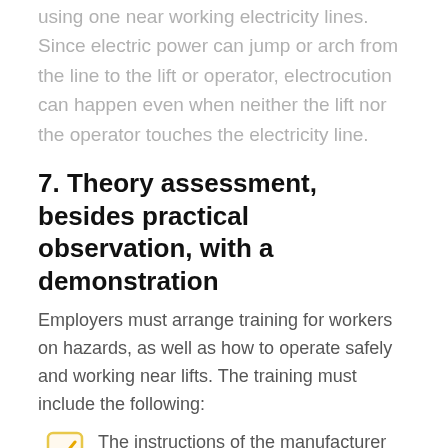using one near working electricity lines. Since electric power can jump or arch from the line to the lift or operator, electrocution can happen even when neither the lift nor the operator touches the electricity line.
7. Theory assessment, besides practical observation, with a demonstration
Employers must arrange training for workers on hazards, as well as how to operate safely and working near lifts. The training must include the following:
The instructions of the manufacturer for operating a scissor lift upright and while